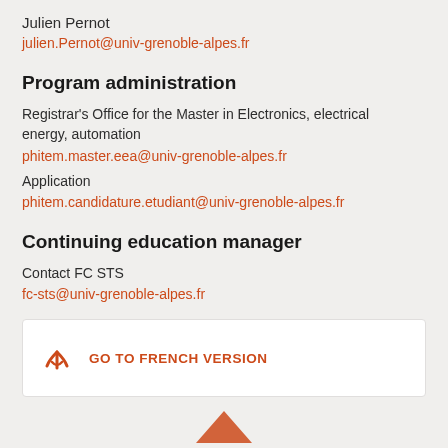Julien Pernot
julien.Pernot@univ-grenoble-alpes.fr
Program administration
Registrar's Office for the Master in Electronics, electrical energy, automation
phitem.master.eea@univ-grenoble-alpes.fr
Application
phitem.candidature.etudiant@univ-grenoble-alpes.fr
Continuing education manager
Contact FC STS
fc-sts@univ-grenoble-alpes.fr
GO TO FRENCH VERSION